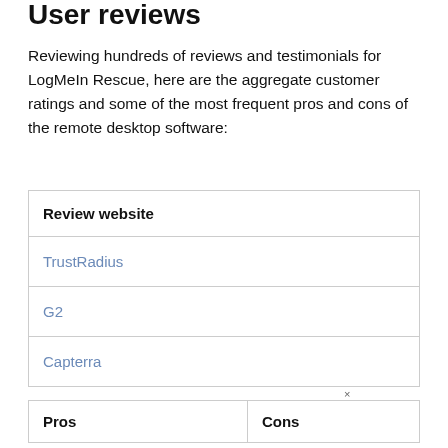User reviews
Reviewing hundreds of reviews and testimonials for LogMeIn Rescue, here are the aggregate customer ratings and some of the most frequent pros and cons of the remote desktop software:
| Review website |
| --- |
| TrustRadius |
| G2 |
| Capterra |
| Pros | Cons |
| --- | --- |